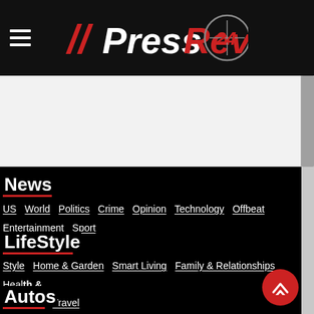PressReview24
[Figure (screenshot): Gray advertisement/banner placeholder area]
News
US  World  Politics  Crime  Opinion  Technology  Offbeat  Entertainment  Sport
LifeStyle
Style  Home & Garden  Smart Living  Family & Relationships  Health & Fit  Food  Travel
Autos
News  Reviews  buying  Enthusiasts  Auto Shows  Motorcycles